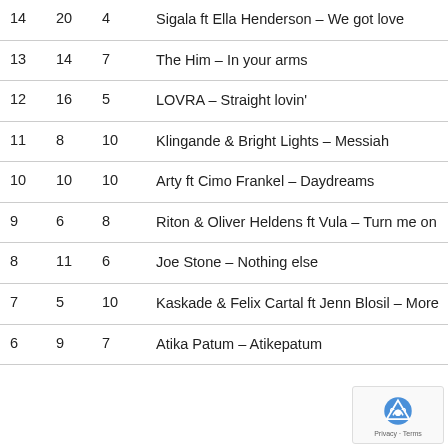| 14 | 20 | 4 | Sigala ft Ella Henderson – We got love |
| 13 | 14 | 7 | The Him – In your arms |
| 12 | 16 | 5 | LOVRA – Straight lovin' |
| 11 | 8 | 10 | Klingande & Bright Lights – Messiah |
| 10 | 10 | 10 | Arty ft Cimo Frankel – Daydreams |
| 9 | 6 | 8 | Riton & Oliver Heldens ft Vula – Turn me on |
| 8 | 11 | 6 | Joe Stone – Nothing else |
| 7 | 5 | 10 | Kaskade & Felix Cartal ft Jenn Blosil – More |
| 6 | 9 | 7 | Atika Patum – Atikepatum |